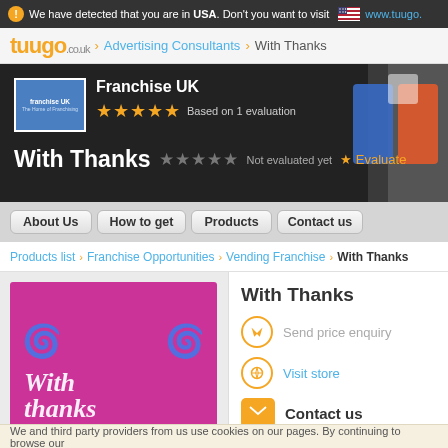We have detected that you are in USA. Don't you want to visit www.tuugo.
tuugo.co.uk > Advertising Consultants > With Thanks
[Figure (screenshot): Franchise UK logo and rating: 5 orange stars, Based on 1 evaluation. With Thanks title with gray stars, Not evaluated yet, Evaluate button.]
With Thanks
Not evaluated yet   Evaluate
About Us  How to get  Products  Contact us
Products list > Franchise Opportunities > Vending Franchise > With Thanks
[Figure (photo): Magenta/pink product image with white cursive text reading 'With thanks' and decorative swirls]
With Thanks
Send price enquiry
Visit store
Contact us
See phone
We and third party providers from us use cookies on our pages. By continuing to browse our